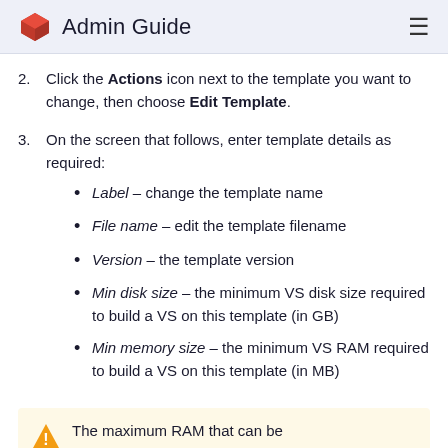Admin Guide
Click the Actions icon next to the template you want to change, then choose Edit Template.
On the screen that follows, enter template details as required:
Label – change the template name
File name – edit the template filename
Version – the template version
Min disk size – the minimum VS disk size required to build a VS on this template (in GB)
Min memory size – the minimum VS RAM required to build a VS on this template (in MB)
The maximum RAM that can be